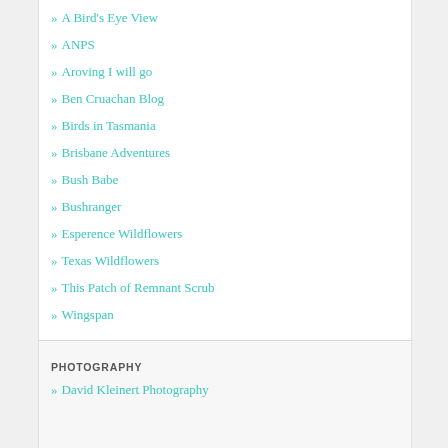» A Bird's Eye View
» ANPS
» Aroving I will go
» Ben Cruachan Blog
» Birds in Tasmania
» Brisbane Adventures
» Bush Babe
» Bushranger
» Esperence Wildflowers
» Texas Wildflowers
» This Patch of Remnant Scrub
» Wingspan
PHOTOGRAPHY
» David Kleinert Photography